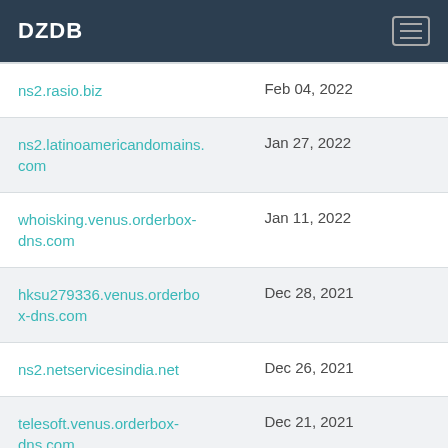DZDB
| Domain | Date |
| --- | --- |
| ns2.rasio.biz | Feb 04, 2022 |
| ns2.latinoamericandomains.com | Jan 27, 2022 |
| whoisking.venus.orderbox-dns.com | Jan 11, 2022 |
| hksu279336.venus.orderbox-dns.com | Dec 28, 2021 |
| ns2.netservicesindia.net | Dec 26, 2021 |
| telesoft.venus.orderbox-dns.com | Dec 21, 2021 |